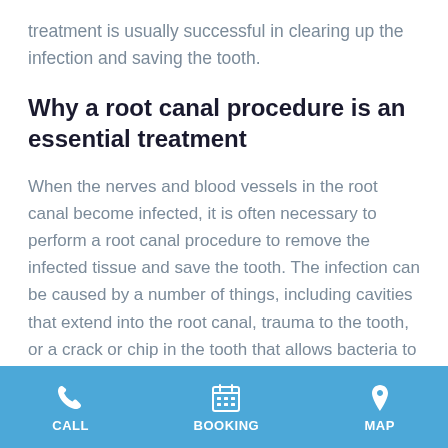treatment is usually successful in clearing up the infection and saving the tooth.
Why a root canal procedure is an essential treatment
When the nerves and blood vessels in the root canal become infected, it is often necessary to perform a root canal procedure to remove the infected tissue and save the tooth. The infection can be caused by a number of things, including cavities that extend into the root canal, trauma to the tooth, or a crack or chip in the tooth that allows bacteria to enter.
CALL   BOOKING   MAP